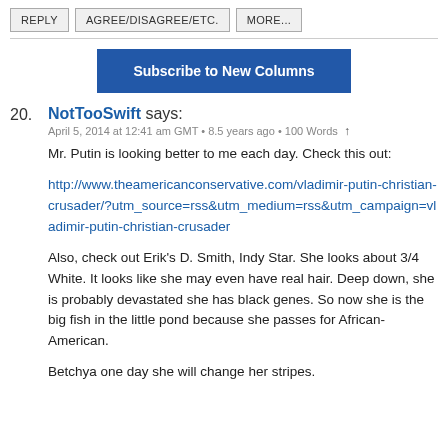REPLY
AGREE/DISAGREE/ETC.
MORE...
Subscribe to New Columns
20. NotTooSwift says: April 5, 2014 at 12:41 am GMT • 8.5 years ago • 100 Words ↑
Mr. Putin is looking better to me each day. Check this out:
http://www.theamericanconservative.com/vladimir-putin-christian-crusader/?utm_source=rss&utm_medium=rss&utm_campaign=vladimir-putin-christian-crusader
Also, check out Erik's D. Smith, Indy Star. She looks about 3/4 White. It looks like she may even have real hair. Deep down, she is probably devastated she has black genes. So now she is the big fish in the little pond because she passes for African-American.
Betchya one day she will change her stripes.